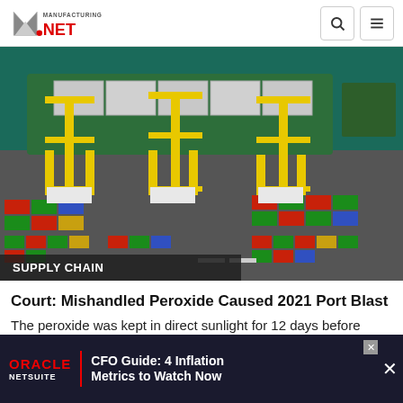Manufacturing.net
[Figure (photo): Aerial view of a container port with yellow gantry cranes loading a green cargo ship, with colorful shipping containers on the dock below.]
SUPPLY CHAIN
Court: Mishandled Peroxide Caused 2021 Port Blast
The peroxide was kept in direct sunlight for 12 days before August
[Figure (other): Oracle NetSuite advertisement: CFO Guide: 4 Inflation Metrics to Watch Now]